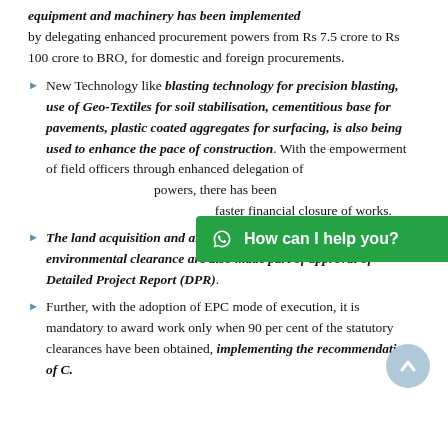equipment and machinery has been implemented by delegating enhanced procurement powers from Rs 7.5 crore to Rs 100 crore to BRO, for domestic and foreign procurements.
New Technology like blasting technology for precision blasting, use of Geo-Textiles for soil stabilisation, cementitious base for pavements, plastic coated aggregates for surfacing, is also being used to enhance the pace of construction. With the empowerment of field officers through enhanced delegation of powers, there has been significant improvement in faster financial closure of works.
The land acquisition and all statutory clearances like forest and environmental clearance are also made part of approval of Detailed Project Report (DPR).
Further, with the adoption of EPC mode of execution, it is mandatory to award work only when 90 per cent of the statutory clearances have been obtained, implementing the recommendation of C. from...